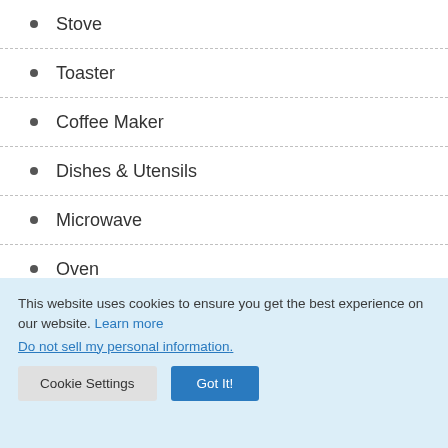Stove
Toaster
Coffee Maker
Dishes & Utensils
Microwave
Oven
Refrigerator
Kitchen
Cookware
This website uses cookies to ensure you get the best experience on our website. Learn more
Do not sell my personal information.
Cookie Settings  Got It!